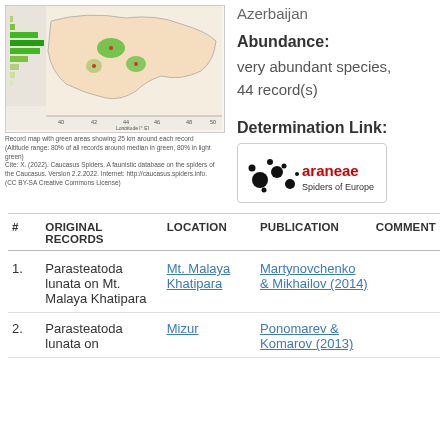[Figure (map): Record map with green areas showing 25 km around each record. Altitude range: 80% of all records around median in green, 80% in light green. Map of Caucasus region showing distribution records.]
Record map with green areas showing 25 km around each record (Altitude range: 80% of all records around median in green, 80% in light green)
Cite: X. (2022). Caucasus Spiders. A faunistic database on the spiders of the Caucasus. Version 2.2.2022. Internet: http://caucasus.spiders.info. (CC BY-SA Creative Commons License)
Azerbaijan
Abundance: very abundant species, 44 record(s)
Determination Link:
[Figure (logo): araneae Spiders of Europe logo with black spider dots and red/black text]
| # | ORIGINAL RECORDS | LOCATION | PUBLICATION | COMMENT |
| --- | --- | --- | --- | --- |
| 1. | Parasteatoda lunata on Mt. Malaya Khatipara | Mt. Malaya Khatipara | Martynovchenko & Mikhailov (2014) |  |
| 2. | Parasteatoda lunata on | Mizur | Ponomarev & Komarov (2013) |  |